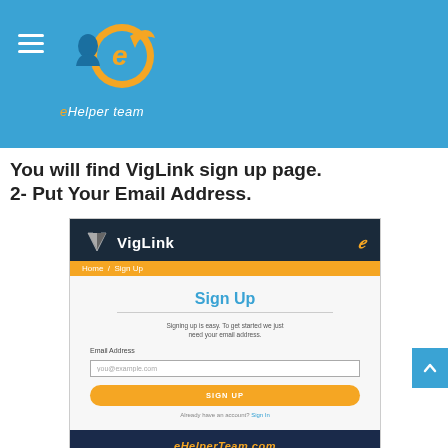eHelper team
You will find VigLink sign up page.
2- Put Your Email Address.
[Figure (screenshot): Screenshot of VigLink sign up page showing the VigLink logo in dark header, orange navigation bar, a Sign Up form with Email Address field and SIGNUP button, and eHelperTeam.com footer bar.]